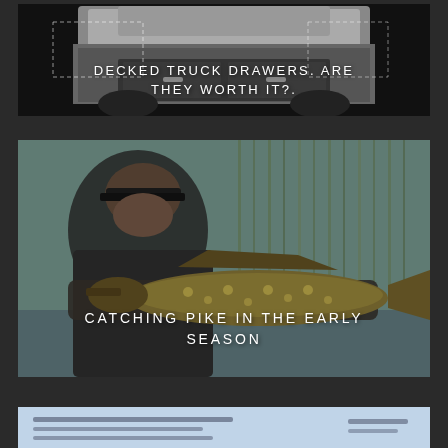[Figure (photo): Truck with DECKED drawer system in truck bed, dark background with dotted rectangle annotations]
DECKED TRUCK DRAWERS. ARE THEY WORTH IT?.
[Figure (photo): Man holding a large pike fish near a lake or river, overcast day, trees in background]
CATCHING PIKE IN THE EARLY SEASON
[Figure (photo): Partial view of a third card/article at the bottom of the page, appears to show text on a light blue background]